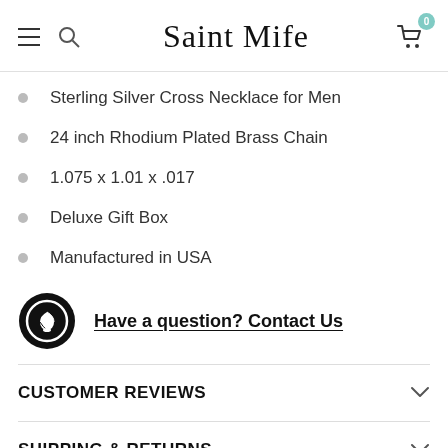Saint Mife
Sterling Silver Cross Necklace for Men
24 inch Rhodium Plated Brass Chain
1.075 x 1.01 x .017
Deluxe Gift Box
Manufactured in USA
Have a question? Contact Us
CUSTOMER REVIEWS
SHIPPING & RETURNS